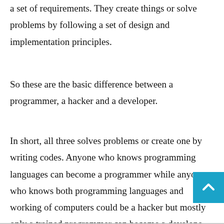a set of requirements. They create things or solve problems by following a set of design and implementation principles.
So these are the basic difference between a programmer, a hacker and a developer.
In short, all three solves problems or create one by writing codes. Anyone who knows programming languages can become a programmer while anyone who knows both programming languages and working of computers could be a hacker but mostly only a trained programmer can become a developer.